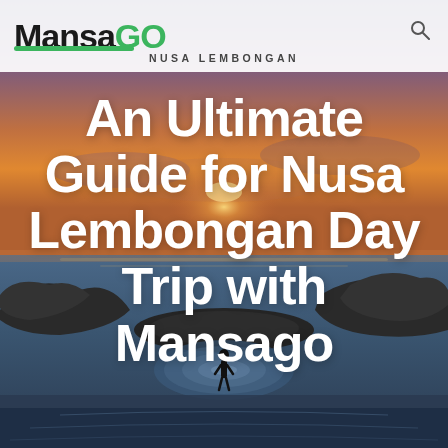[Figure (photo): Aerial/wide-angle photo of Nusa Lembongan coastline at sunset. A lone person stands in shallow tidal rock pools with rippling water circles around them, surrounded by dramatic rocky outcrops, the ocean, and a golden-pink sunset sky with clouds on the horizon.]
MansaGO NUSA LEMBONGAN
An Ultimate Guide for Nusa Lembongan Day Trip with Mansago